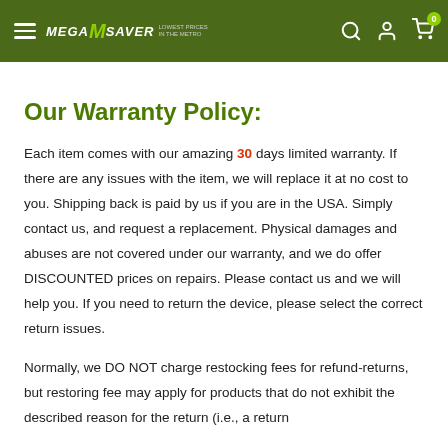MegaSaver — Lowest Prices in the Metro
Our Warranty Policy:
Each item comes with our amazing 30 days limited warranty. If there are any issues with the item, we will replace it at no cost to you. Shipping back is paid by us if you are in the USA. Simply contact us, and request a replacement. Physical damages and abuses are not covered under our warranty, and we do offer DISCOUNTED prices on repairs. Please contact us and we will help you. If you need to return the device, please select the correct return issues.
Normally, we DO NOT charge restocking fees for refund-returns, but restoring fee may apply for products that do not exhibit the described reason for the return (i.e., a return